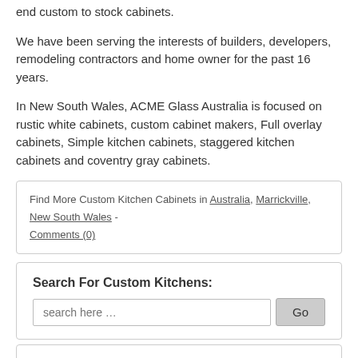end custom to stock cabinets.
We have been serving the interests of builders, developers, remodeling contractors and home owner for the past 16 years.
In New South Wales, ACME Glass Australia is focused on rustic white cabinets, custom cabinet makers, Full overlay cabinets, Simple kitchen cabinets, staggered kitchen cabinets and coventry gray cabinets.
Find More Custom Kitchen Cabinets in Australia, Marrickville, New South Wales - Comments (0)
Search For Custom Kitchens:
Local Custom Kitchen Cabinets:
Alabama
Alaska
Alberta
Arizona
Arkansas